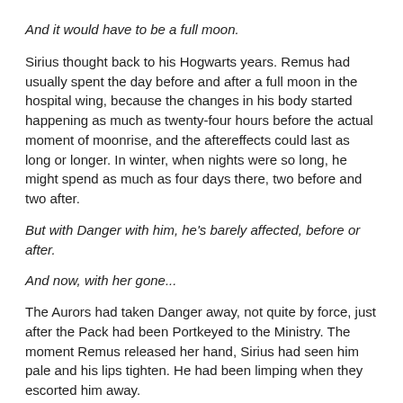And it would have to be a full moon.
Sirius thought back to his Hogwarts years. Remus had usually spent the day before and after a full moon in the hospital wing, because the changes in his body started happening as much as twenty-four hours before the actual moment of moonrise, and the aftereffects could last as long or longer. In winter, when nights were so long, he might spend as much as four days there, two before and two after.
But with Danger with him, he's barely affected, before or after.
And now, with her gone...
The Aurors had taken Danger away, not quite by force, just after the Pack had been Portkeyed to the Ministry. The moment Remus released her hand, Sirius had seen him pale and his lips tighten. He had been limping when they escorted him away.
Tonight is going to be hard on him. God, I wish I could be with him, I can't do what Danger does for him, but I could at least help. And he's going to look terrible at the trial tomorrow... the Wizengamot's probably going to think I beat him up or something...
The trial. Sirius sighed. They had sent an officious little clerk